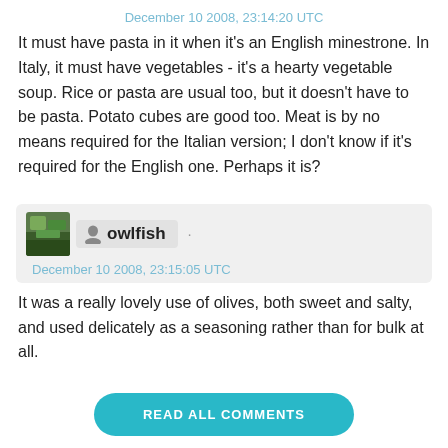December 10 2008, 23:14:20 UTC
It must have pasta in it when it's an English minestrone. In Italy, it must have vegetables - it's a hearty vegetable soup. Rice or pasta are usual too, but it doesn't have to be pasta. Potato cubes are good too. Meat is by no means required for the Italian version; I don't know if it's required for the English one. Perhaps it is?
owlfish
December 10 2008, 23:15:05 UTC
It was a really lovely use of olives, both sweet and salty, and used delicately as a seasoning rather than for bulk at all.
READ ALL COMMENTS